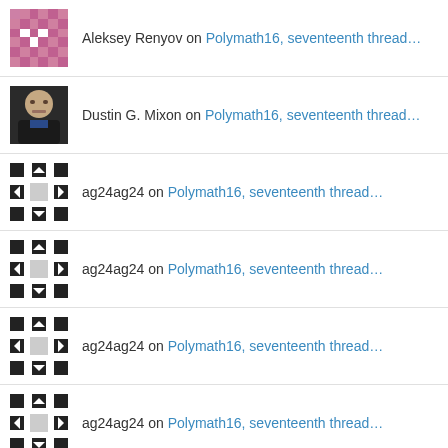Aleksey Renyov on Polymath16, seventeenth thread…
Dustin G. Mixon on Polymath16, seventeenth thread…
ag24ag24 on Polymath16, seventeenth thread…
ag24ag24 on Polymath16, seventeenth thread…
ag24ag24 on Polymath16, seventeenth thread…
ag24ag24 on Polymath16, seventeenth thread…
ag24ag24 on Polymath16, seventeenth thread…